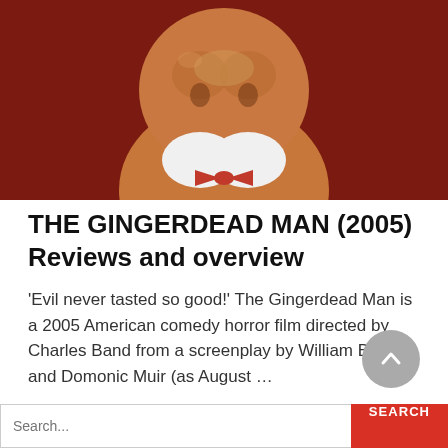[Figure (photo): Close-up photo of a gingerbread man figure with a red bow tie against a dark red background]
THE GINGERDEAD MAN (2005) Reviews and overview
'Evil never tasted so good!' The Gingerdead Man is a 2005 American comedy horror film directed by Charles Band from a screenplay by William Butler and Domonic Muir (as August …
READ MORE
SEARCH